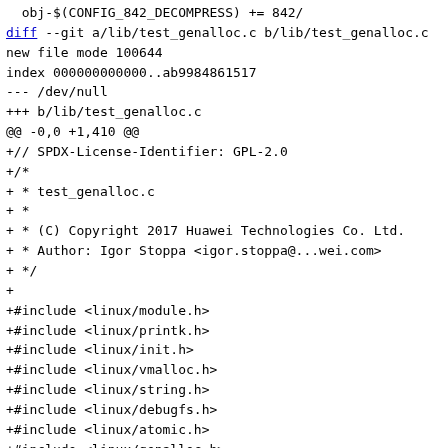obj-$(CONFIG_842_DECOMPRESS) += 842/
diff --git a/lib/test_genalloc.c b/lib/test_genalloc.c
new file mode 100644
index 000000000000..ab99848615177
--- /dev/null
+++ b/lib/test_genalloc.c
@@ -0,0 +1,410 @@
+// SPDX-License-Identifier: GPL-2.0
+/*
+ * test_genalloc.c
+ *
+ * (C) Copyright 2017 Huawei Technologies Co. Ltd.
+ * Author: Igor Stoppa <igor.stoppa@...wei.com>
+ */
+
+#include <linux/module.h>
+#include <linux/printk.h>
+#include <linux/init.h>
+#include <linux/vmalloc.h>
+#include <linux/string.h>
+#include <linux/debugfs.h>
+#include <linux/atomic.h>
+#include <linux/genalloc.h>
+
+#include <linux/test_genalloc.h>
+
+
+/*
+ * In case of failure of any of these tests, memory
corruption is almost